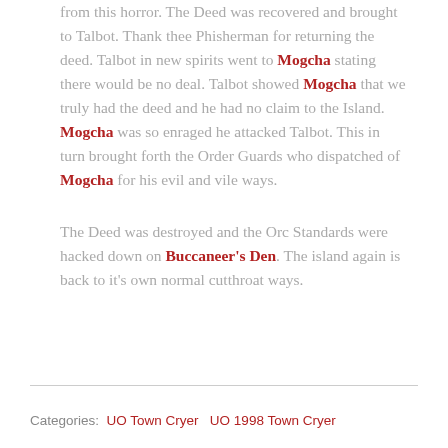from this horror. The Deed was recovered and brought to Talbot. Thank thee Phisherman for returning the deed. Talbot in new spirits went to Mogcha stating there would be no deal. Talbot showed Mogcha that we truly had the deed and he had no claim to the Island. Mogcha was so enraged he attacked Talbot. This in turn brought forth the Order Guards who dispatched of Mogcha for his evil and vile ways.
The Deed was destroyed and the Orc Standards were hacked down on Buccaneer's Den. The island again is back to it's own normal cutthroat ways.
Categories: UO Town Cryer   UO 1998 Town Cryer